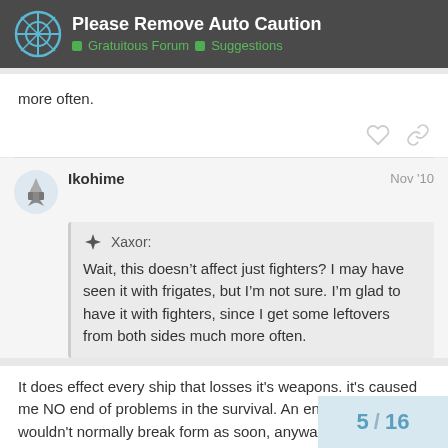Please Remove Auto Caution — Gratuitous Forum > Suggestions
more often.
Ikohime  Nov '10
Xaxor: Wait, this doesn't affect just fighters? I may have seen it with frigates, but I'm not sure. I'm glad to have it with fighters, since I get some leftovers from both sides much more often.
It does effect every ship that losses it's weapons. it's caused me NO end of problems in the survival. An enemy cruiser that wouldn't normally break form as soon, anyway) runs and drags my fle
5 / 16